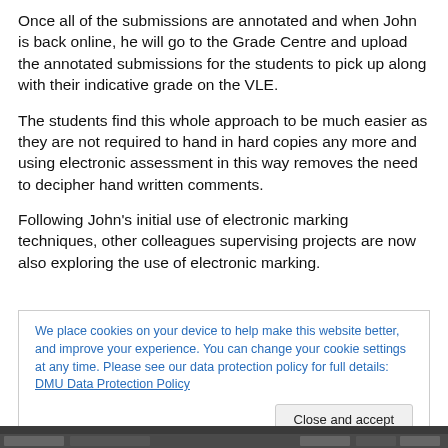Once all of the submissions are annotated and when John is back online, he will go to the Grade Centre and upload the annotated submissions for the students to pick up along with their indicative grade on the VLE.
The students find this whole approach to be much easier as they are not required to hand in hard copies any more and using electronic assessment in this way removes the need to decipher hand written comments.
Following John’s initial use of electronic marking techniques, other colleagues supervising projects are now also exploring the use of electronic marking.
We place cookies on your device to help make this website better, and improve your experience. You can change your cookie settings at any time. Please see our data protection policy for full details: DMU Data Protection Policy
[Figure (screenshot): Bottom browser screenshot bar showing a webpage]